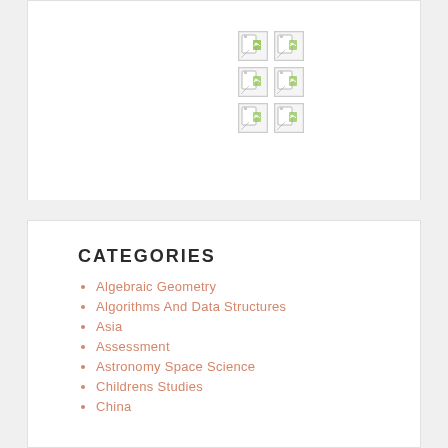[Figure (other): A 2x3 grid of broken/placeholder image icons arranged vertically, each showing a small document/image placeholder icon with green and white tones.]
CATEGORIES
Algebraic Geometry
Algorithms And Data Structures
Asia
Assessment
Astronomy Space Science
Childrens Studies
China